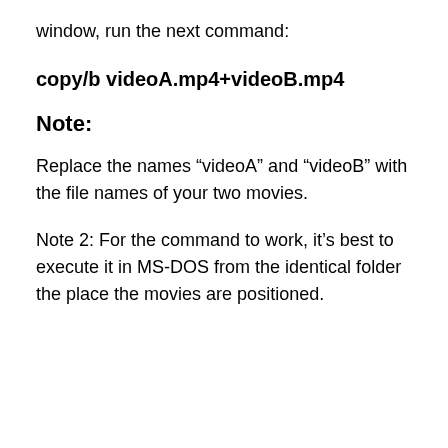window, run the next command:
Note:
Replace the names “videoA” and “videoB” with the file names of your two movies.
Note 2: For the command to work, it’s best to execute it in MS-DOS from the identical folder the place the movies are positioned.